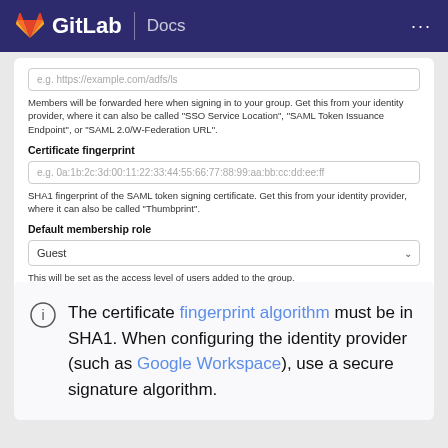GitLab Docs
e.g. https://example.com/adfs/ls
Members will be forwarded here when signing in to your group. Get this from your identity provider, where it can also be called "SSO Service Location", "SAML Token Issuance Endpoint", or "SAML 2.0/W-Federation URL".
Certificate fingerprint
e.g. 0a:1b:2c:3d:00:11:22:33:44:55:66:77:88:99:aa:bb:cc:dd:ee:ff
SHA1 fingerprint of the SAML token signing certificate. Get this from your identity provider, where it can also be called "Thumbprint".
Default membership role
Guest
This will be set as the access level of users added to the group.
Save changes
The certificate fingerprint algorithm must be in SHA1. When configuring the identity provider (such as Google Workspace), use a secure signature algorithm.